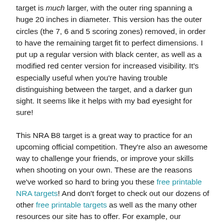target is much larger, with the outer ring spanning a huge 20 inches in diameter. This version has the outer circles (the 7, 6 and 5 scoring zones) removed, in order to have the remaining target fit to perfect dimensions. I put up a regular version with black center, as well as a modified red center version for increased visibility. It's especially useful when you're having trouble distinguishing between the target, and a darker gun sight. It seems like it helps with my bad eyesight for sure!
This NRA B8 target is a great way to practice for an upcoming official competition. They're also an awesome way to challenge your friends, or improve your skills when shooting on your own. These are the reasons we've worked so hard to bring you these free printable NRA targets! And don't forget to check out our dozens of other free printable targets as well as the many other resources our site has to offer. For example, our convenient and easy to use muzzle energy calculator! Thanks for checking out our NRA B-8 target, and for using Targets4Free! Remember, we're your